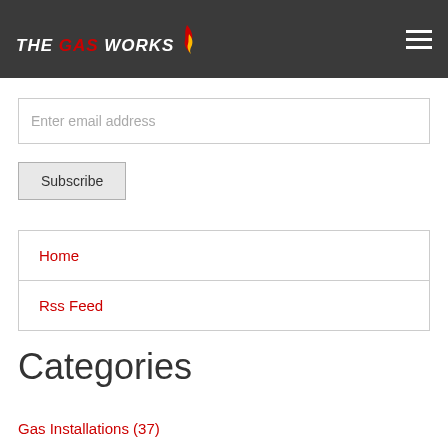THE GAS WORKS
Enter email address
Subscribe
Home
Rss Feed
Categories
Gas Installations (37)